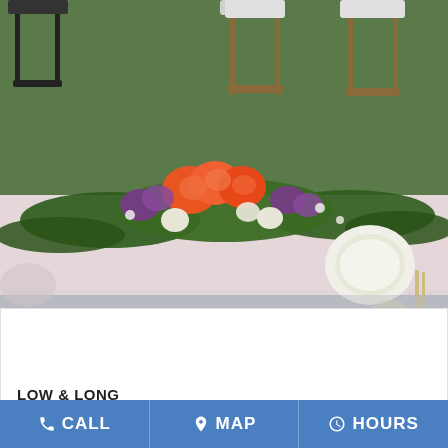[Figure (photo): A wedding reception head table with a long, low floral centerpiece featuring orange roses, purple flowers, white blooms, and lush greenery. White chiavari chairs are visible in the background. The table is set with white linens, plates, and glassware.]
LOW & LONG
CALL   MAP   HOURS